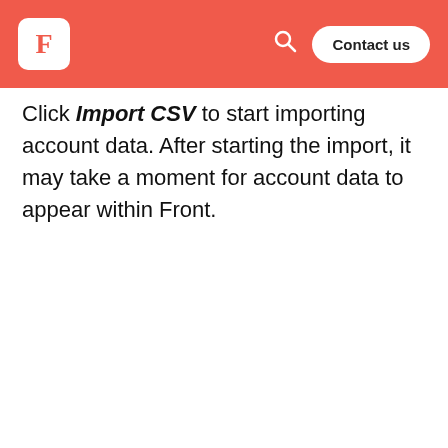Front - Contact us
Click Import CSV to start importing account data. After starting the import, it may take a moment for account data to appear within Front.
[Figure (screenshot): Screenshot of the Front application showing an 'Import accounts' modal dialog. The modal contains a blue info box titled 'Preparing your CSV' with bullet points: 'Supported properties: name (required), description, domains, owner, external ID, custom fields.' and 'You can import a maximum of 3000 rows.' with LEARN MORE and DOWNLOAD CSV TEMPLATE links. Below the info box is a file entry showing 'accounts.csv' with size '133B'. In the background, a Create button is visible and partial account data is shown.]